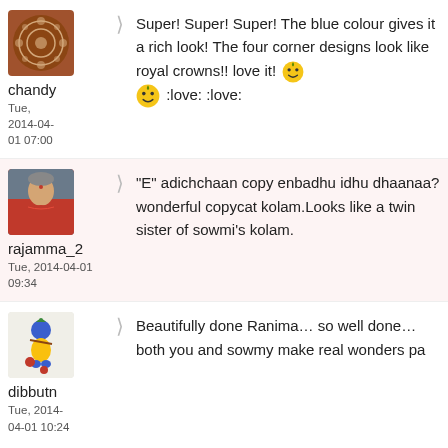[Figure (screenshot): Comment section with three user comments: chandy, rajamma_2, dibbutn]
chandy
Tue, 2014-04-01 07:00
Super! Super! Super! The blue colour gives it a rich look! The four corner designs look like royal crowns!! love it! :love: :love:
rajamma_2
Tue, 2014-04-01 09:34
"E" adichchaan copy enbadhu idhu dhaanaa?
wonderful copycat kolam.Looks like a twin sister of sowmi's kolam.
dibbutn
Tue, 2014-04-01 10:24
Beautifully done Ranima... so well done... both you and sowmy make real wonders pa